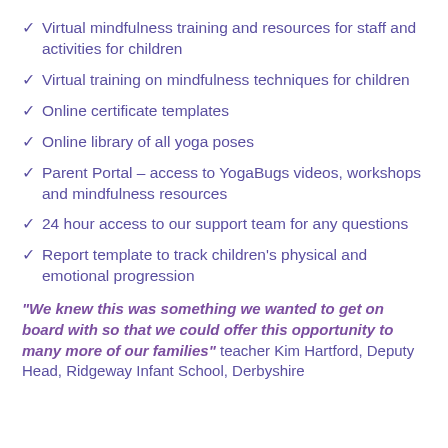✓ Virtual mindfulness training and resources for staff and activities for children
✓ Virtual training on mindfulness techniques for children
✓ Online certificate templates
✓ Online library of all yoga poses
✓ Parent Portal – access to YogaBugs videos, workshops and mindfulness resources
✓ 24 hour access to our support team for any questions
✓ Report template to track children's physical and emotional progression
"We knew this was something we wanted to get on board with so that we could offer this opportunity to many more of our families" teacher Kim Hartford, Deputy Head, Ridgeway Infant School, Derbyshire